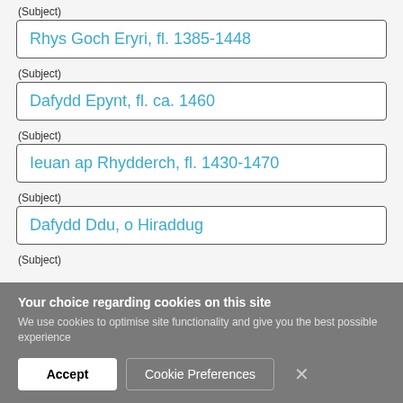(Subject)
Rhys Goch Eryri, fl. 1385-1448
(Subject)
Dafydd Epynt, fl. ca. 1460
(Subject)
Ieuan ap Rhydderch, fl. 1430-1470
(Subject)
Dafydd Ddu, o Hiraddug
(Subject)
Your choice regarding cookies on this site
We use cookies to optimise site functionality and give you the best possible experience